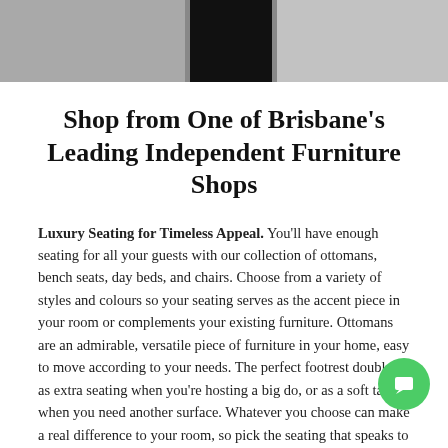[Figure (photo): Partial photo strip showing furniture/interior, with dark center panel and grey panels on either side]
Shop from One of Brisbane's Leading Independent Furniture Shops
Luxury Seating for Timeless Appeal. You'll have enough seating for all your guests with our collection of ottomans, bench seats, day beds, and chairs. Choose from a variety of styles and colours so your seating serves as the accent piece in your room or complements your existing furniture. Ottomans are an admirable, versatile piece of furniture in your home, easy to move according to your needs. The perfect footrest doubles as extra seating when you're hosting a big do, or as a soft table when you need another surface. Whatever you choose can make a real difference to your room, so pick the seating that speaks to your taste, can be customised to match your existing decor, and is made of quality materials.